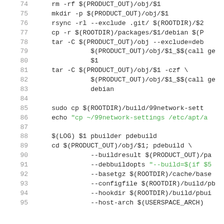[Figure (screenshot): Source code listing showing lines 74-95 of a Makefile or shell script with line numbers on the left and code on the right. Uses monospace font with green highlighting for string literals. Commands include rm, mkdir, rsync, cp, tar, sudo cp, echo, and pdebuild invocations with various flags referencing $(PRODUCT_OUT), $(ROOTDIR), $(LOG), and $(USERSPACE_ARCH) variables.]